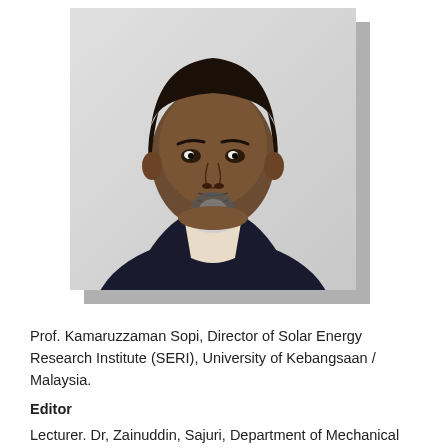[Figure (photo): Headshot photo of Prof. Kamaruzzaman Sopi, a man with dark hair and a goatee, wearing a dark suit jacket and light shirt, against a light background.]
Prof. Kamaruzzaman Sopi, Director of Solar Energy Research Institute (SERI), University of Kebangsaan / Malaysia.
Editor
Lecturer. Dr, Zainuddin, Sajuri, Department of Mechanical and Manufacturing Engineering, The National University of Malaysia, Malaysia,zsajuri@ukm.edu.my.